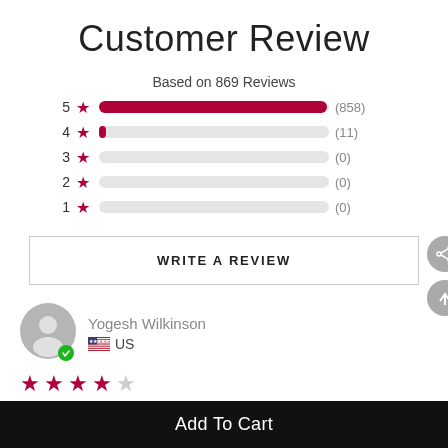Customer Review
Based on 869 Reviews
[Figure (bar-chart): Customer Review Rating Distribution]
WRITE A REVIEW
Yogesh Wilkinson
US
[Figure (other): 4-star rating shown as filled and empty stars]
Add To Cart